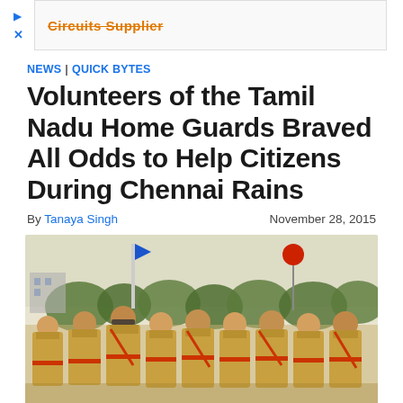[Figure (other): Advertisement banner with orange strikethrough text 'Circuits Supplier' and blue play/close icons]
NEWS | QUICK BYTES
Volunteers of the Tamil Nadu Home Guards Braved All Odds to Help Citizens During Chennai Rains
By Tanaya Singh    November 28, 2015
[Figure (photo): Photograph of Tamil Nadu Home Guards volunteers in khaki uniforms standing in formation outdoors, with trees and flags in the background]